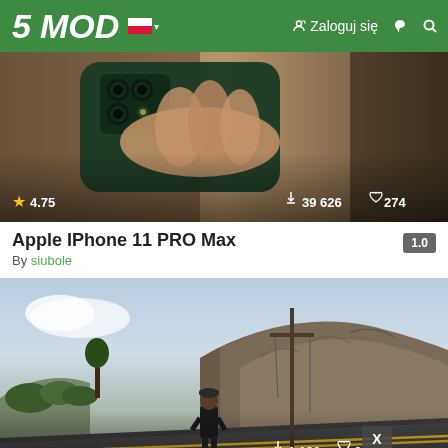5MODS | Zaloguj się
[Figure (screenshot): Screenshot of Apple iPhone 11 Pro Max mod thumbnail showing a dark green iPhone being held, with star rating 4.75, 39 626 downloads, and 274 likes overlaid on the image.]
Apple IPhone 11 PRO Max
By siubole
[Figure (screenshot): Screenshot of GTA 5 mod thumbnail showing Franklin standing on a road with rocky hills in background, X badge visible, 1 180 downloads and 6 likes.]
New pants for Franklin